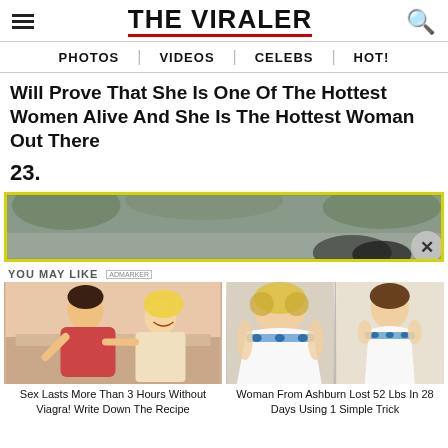THE VIRALER
PHOTOS | VIDEOS | CELEBS | HOT!
Will Prove That She Is One Of The Hottest Women Alive And She Is The Hottest Woman Out There
23.
[Figure (photo): Ad banner with yellow border, showing a partially visible image with a close (X) button]
YOU MAY LIKE  ADMARKER
[Figure (illustration): Illustrated image of a man and woman, recommendation ad for 'Sex Lasts More Than 3 Hours Without Viagra! Write Down The Recipe']
[Figure (photo): Side-by-side photo of a woman in a wedding dress before and after weight loss, recommendation ad]
Sex Lasts More Than 3 Hours Without Viagra! Write Down The Recipe
Woman From Ashburn Lost 52 Lbs In 28 Days Using 1 Simple Trick